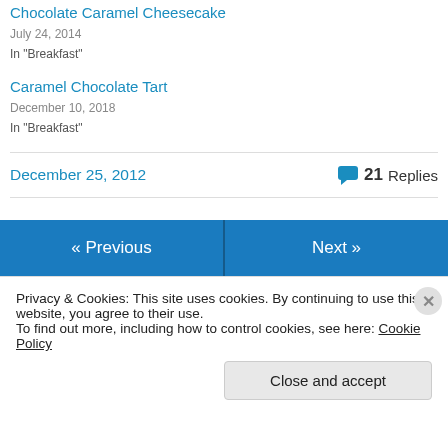Chocolate Caramel Cheesecake
July 24, 2014
In "Breakfast"
Caramel Chocolate Tart
December 10, 2018
In "Breakfast"
December 25, 2012
21 Replies
« Previous
Next »
Privacy & Cookies: This site uses cookies. By continuing to use this website, you agree to their use.
To find out more, including how to control cookies, see here: Cookie Policy
Close and accept